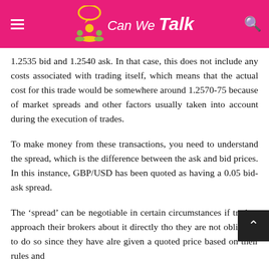Can We Talk
1.2535 bid and 1.2540 ask. In that case, this does not include any costs associated with trading itself, which means that the actual cost for this trade would be somewhere around 1.2570-75 because of market spreads and other factors usually taken into account during the execution of trades.
To make money from these transactions, you need to understand the spread, which is the difference between the ask and bid prices. In this instance, GBP/USD has been quoted as having a 0.05 bid-ask spread.
The ‘spread’ can be negotiable in certain circumstances if traders approach their brokers about it directly though they are not obligated to do so since they have already given a quoted price based on their rules and